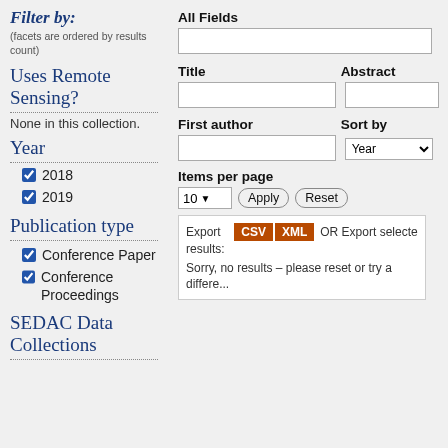Filter by:
(facets are ordered by results count)
Uses Remote Sensing?
None in this collection.
Year
2018 (checked)
2019 (checked)
Publication type
Conference Paper (checked)
Conference Proceedings (checked)
SEDAC Data Collections
All Fields
Title
Abstract
First author
Sort by
Items per page
Export results: CSV XML  OR Export selected citations us... Sorry, no results – please reset or try a diffe...